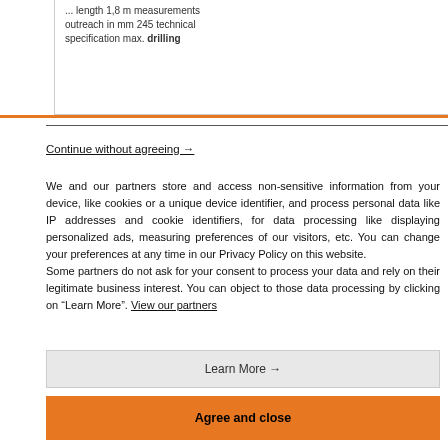... length 1,8 m measurements outreach in mm 245 technical specification max. drilling
Continue without agreeing →
We and our partners store and access non-sensitive information from your device, like cookies or a unique device identifier, and process personal data like IP addresses and cookie identifiers, for data processing like displaying personalized ads, measuring preferences of our visitors, etc. You can change your preferences at any time in our Privacy Policy on this website.
Some partners do not ask for your consent to process your data and rely on their legitimate business interest. You can object to those data processing by clicking on “Learn More”. View our partners
Learn More →
Agree and close